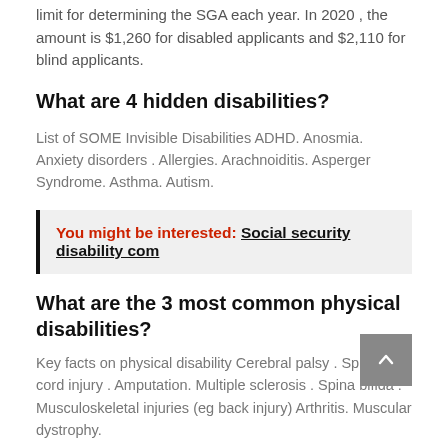limit for determining the SGA each year. In 2020 , the amount is $1,260 for disabled applicants and $2,110 for blind applicants.
What are 4 hidden disabilities?
List of SOME Invisible Disabilities ADHD. Anosmia. Anxiety disorders . Allergies. Arachnoiditis. Asperger Syndrome. Asthma. Autism.
You might be interested:  Social security disability com
What are the 3 most common physical disabilities?
Key facts on physical disability Cerebral palsy . Spinal cord injury . Amputation. Multiple sclerosis . Spina bifida . Musculoskeletal injuries (eg back injury) Arthritis. Muscular dystrophy.